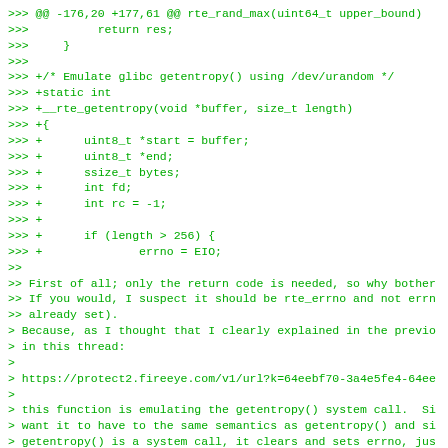>>> @@ -176,20 +177,61 @@ rte_rand_max(uint64_t upper_bound)
>>>          return res;
>>>     }
>>>
>>> +/* Emulate glibc getentropy() using /dev/urandom */
>>> +static int
>>> +__rte_getentropy(void *buffer, size_t length)
>>> +{
>>> +      uint8_t *start = buffer;
>>> +      uint8_t *end;
>>> +      ssize_t bytes;
>>> +      int fd;
>>> +      int rc = -1;
>>> +
>>> +      if (length > 256) {
>>> +              errno = EIO;
>>
>> First of all; only the return code is needed, so why bother
>> If you would, I suspect it should be rte_errno and not errn
>> already set).
> Because, as I thought that I clearly explained in the previo
> in this thread:
>
> https://protect2.fireeye.com/v1/url?k=64eebf70-3a4e5fe4-64ee
>
> this function is emulating the getentropy() system call.  Si
> want it to have to the same semantics as getentropy() and si
> getentropy() is a system call, it clears and sets errno, jus
> getentropy():